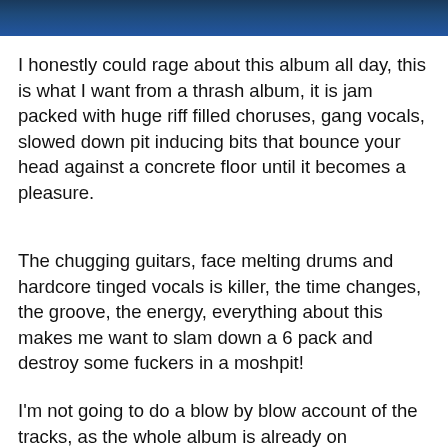[Figure (photo): A dark blue image strip at the top of the page, appearing to be a concert or band photo with dark blue tones.]
I honestly could rage about this album all day, this is what I want from a thrash album, it is jam packed with huge riff filled choruses, gang vocals, slowed down pit inducing bits that bounce your head against a concrete floor until it becomes a pleasure.
The chugging guitars, face melting drums and hardcore tinged vocals is killer, the time changes, the groove, the energy, everything about this makes me want to slam down a 6 pack and destroy some fuckers in a moshpit!
I'm not going to do a blow by blow account of the tracks, as the whole album is already on